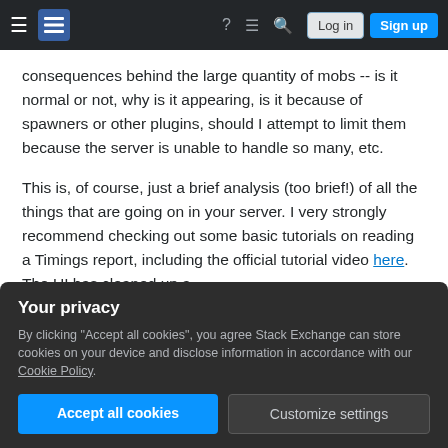Stack Exchange navigation bar with hamburger menu, logo, help, chat, search icons, Log in and Sign up buttons
consequences behind the large quantity of mobs -- is it normal or not, why is it appearing, is it because of spawners or other plugins, should I attempt to limit them because the server is unable to handle so many, etc.
This is, of course, just a brief analysis (too brief!) of all the things that are going on in your server. I very strongly recommend checking out some basic tutorials on reading a Timings report, including the official tutorial video here. The UI has cleaned up a
Your privacy
By clicking "Accept all cookies", you agree Stack Exchange can store cookies on your device and disclose information in accordance with our Cookie Policy.
Accept all cookies   Customize settings
Add a comment